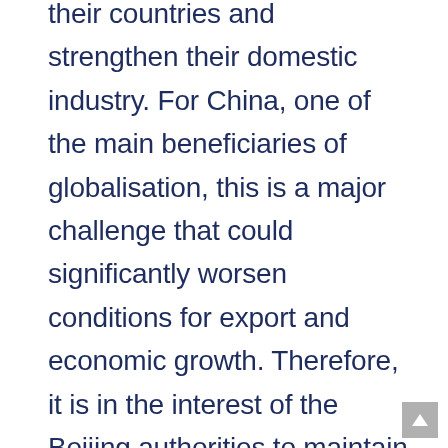their countries and strengthen their domestic industry. For China, one of the main beneficiaries of globalisation, this is a major challenge that could significantly worsen conditions for export and economic growth. Therefore, it is in the interest of the Beijing authorities to maintain supplies to foreign markets in order to reduce concerns of the contractors and create the impression that the current